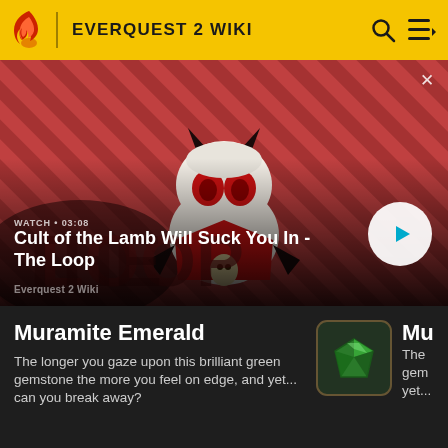EVERQUEST 2 WIKI
[Figure (screenshot): Video thumbnail showing Cult of the Lamb character on red striped background with play button overlay. WATCH • 03:08 label. Title: Cult of the Lamb Will Suck You In - The Loop. Everquest 2 Wiki watermark.]
Muramite Emerald
The longer you gaze upon this brilliant green gemstone the more you feel on edge, and yet... can you break away?
[Figure (illustration): Green gem icon in a dark square rounded frame]